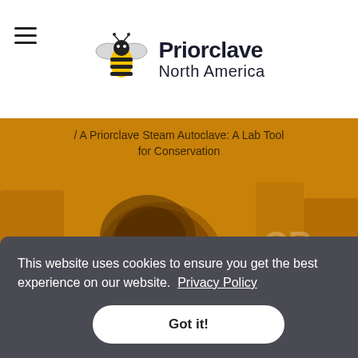[Figure (logo): Priorclave North America logo with bee icon]
[Figure (photo): Golden-tinted hero image with megaphone/loudspeaker in foreground and blurred trade show crowd in background. Yellow/amber color overlay.]
/ A Priorclave Steam Autoclave: A Lab Tool for Conservation
A Priorclave Steam Autoclave: A Lab Tool for Conservation
Category:
This website uses cookies to ensure you get the best experience on our website.  Privacy Policy
Got it!